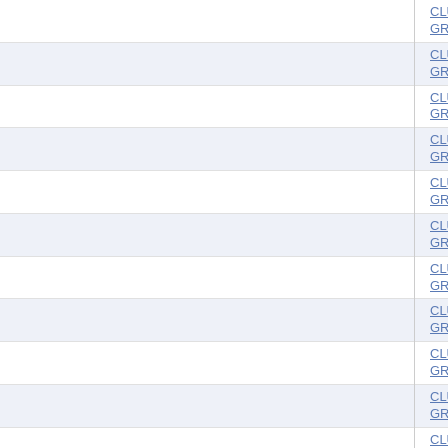| Name | Date | Amount | Report |
| --- | --- | --- | --- |
| CLUB FOR GROWTH ACTION | 02/12/2018 | 177.80 | 2018051... |
| CLUB FOR GROWTH ACTION | 02/12/2018 | 180.02 | 2018051... |
| CLUB FOR GROWTH ACTION | 02/12/2018 | 283.62 | 2018051... |
| CLUB FOR GROWTH ACTION | 02/12/2018 | 578.91 | 2018051... |
| CLUB FOR GROWTH ACTION | 02/12/2018 | 1500.00 | 2018051... |
| CLUB FOR GROWTH ACTION | 02/12/2018 | 19112.00 | 2018051... |
| CLUB FOR GROWTH ACTION | 02/12/2018 | 20940.00 | 2018051... |
| CLUB FOR GROWTH ACTION | 02/13/2018 | 34.27 | 2018051... |
| CLUB FOR GROWTH ACTION | 02/14/2018 | 11.42 | 2018051... |
| CLUB FOR GROWTH ACTION | 02/15/2018 | 11.42 | 2018051... |
| CLUB FOR GROWTH ACTION | 02/15/2018 | 152.27 | 2018051... |
| CLUB FOR GROWTH ACTION | 02/20/2018 | 167000.00 | 2018051... |
| CLUB FOR GROWTH ACTION | 02/21/2018 | 71.93 | 2018051... |
| CLUB FOR GROWTH ACTION | 02/22/2018 | 427.23 | 2018051... |